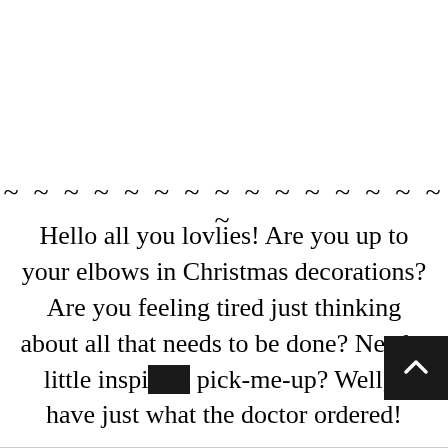~ ~ ~ ~ ~ ~ ~ ~ ~ ~ ~ ~ ~ ~ ~ ~
Hello all you lovlies!  Are you up to your elbows in Christmas decorations?  Are you feeling tired just thinking about all that needs to be done?  Need a little inspiring pick-me-up?  Well, I have just what the doctor ordered!